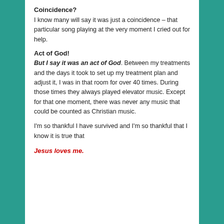Coincidence?
I know many will say it was just a coincidence – that particular song playing at the very moment I cried out for help.
Act of God!
But I say it was an act of God. Between my treatments and the days it took to set up my treatment plan and adjust it, I was in that room for over 40 times. During those times they always played elevator music. Except for that one moment, there was never any music that could be counted as Christian music.
I'm so thankful I have survived and I'm so thankful that I know it is true that
Jesus loves me.